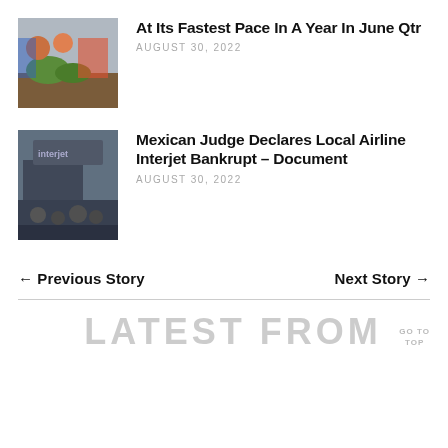[Figure (photo): Photo of market vendors with produce, colorful clothing]
At Its Fastest Pace In A Year In June Qtr
AUGUST 30, 2022
[Figure (photo): Photo of people outside an Interjet airline building]
Mexican Judge Declares Local Airline Interjet Bankrupt – Document
AUGUST 30, 2022
← Previous Story
Next Story →
LATEST FROM